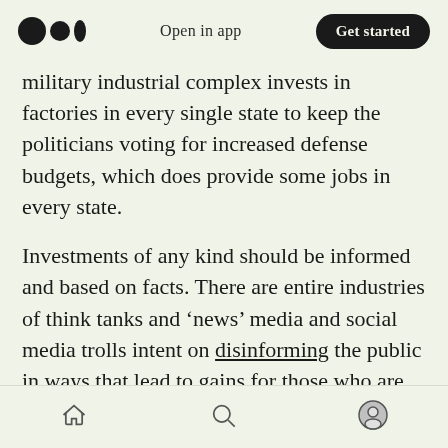Open in app | Get started
military industrial complex invests in factories in every single state to keep the politicians voting for increased defense budgets, which does provide some jobs in every state.
Investments of any kind should be informed and based on facts. There are entire industries of think tanks and ‘news’ media and social media trolls intent on disinforming the public in ways that lead to gains for those who are paying to spread the disinformation. This can vary from a lie about an opponents’ product or their own to a lie saying that an election was stolen. The latter
Home | Search | Profile